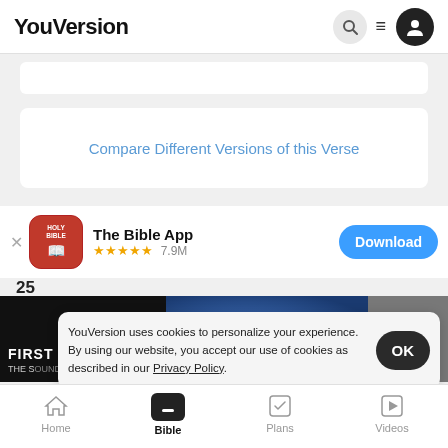YouVersion
Compare Different Versions of this Verse
[Figure (screenshot): The Bible App banner with HOLY BIBLE icon, 4.5 stars, 7.9M ratings, and Download button]
[Figure (screenshot): Video thumbnail strip showing FIRST and THE S... titles]
YouVersion uses cookies to personalize your experience. By using our website, you accept our use of cookies as described in our Privacy Policy.
Home  Bible  Plans  Videos